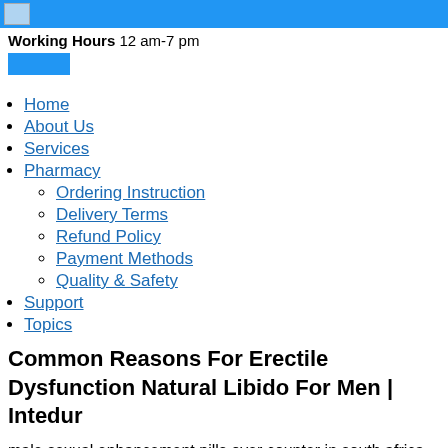Working Hours 12 am-7 pm
Home
About Us
Services
Pharmacy
Ordering Instruction
Delivery Terms
Refund Policy
Payment Methods
Quality & Safety
Support
Topics
Common Reasons For Erectile Dysfunction Natural Libido For Men | Intedur
male sexual enhancement pills over counter in south africa How To Buy Viagra On Viagra, Best Is Viagra A Controlled Substance common reasons for erectile dysfunction Intedur.
But why do you, a statue soaring to the sky That monster is